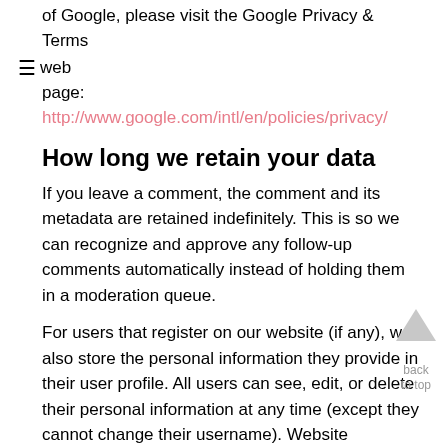of Google, please visit the Google Privacy & Terms
☰ web
page: http://www.google.com/intl/en/policies/privacy/
How long we retain your data
If you leave a comment, the comment and its metadata are retained indefinitely. This is so we can recognize and approve any follow-up comments automatically instead of holding them in a moderation queue.
For users that register on our website (if any), we also store the personal information they provide in their user profile. All users can see, edit, or delete their personal information at any time (except they cannot change their username). Website administrators can also see and edit that information.
What rights you have over your data
If you have an account on this site, or have left